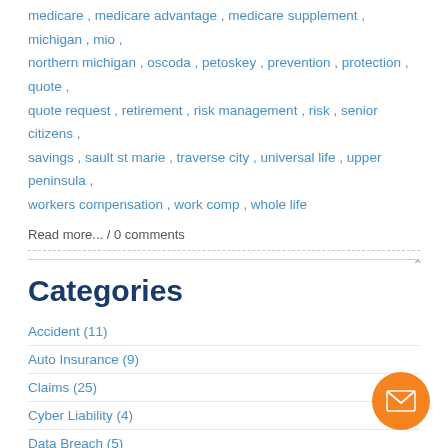medicare , medicare advantage , medicare supplement , michigan , mio , northern michigan , oscoda , petoskey , prevention , protection , quote , quote request , retirement , risk management , risk , senior citizens , savings , sault st marie , traverse city , universal life , upper peninsula , workers compensation , work comp , whole life
Read more... / 0 comments
Categories
Accident (11)
Auto Insurance (9)
Claims (25)
Cyber Liability (4)
Data Breach (5)
Disability Insurance (1)
Financial (4)